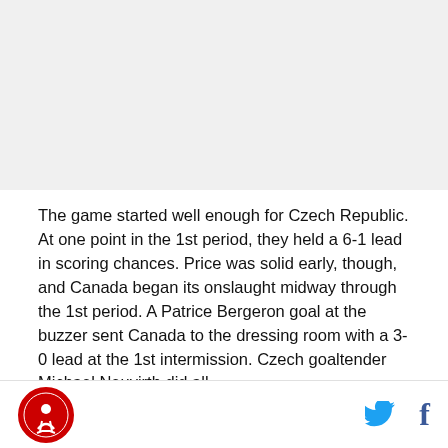[Figure (photo): Top image area, appears blank/white in this view]
The game started well enough for Czech Republic. At one point in the 1st period, they held a 6-1 lead in scoring chances. Price was solid early, though, and Canada began its onslaught midway through the 1st period. A Patrice Bergeron goal at the buzzer sent Canada to the dressing room with a 3-0 lead at the 1st intermission. Czech goaltender Michael Neuvirth did all
Logo | Twitter | Facebook